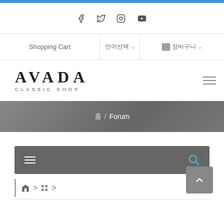Social media icons: Facebook, Twitter, Instagram, YouTube
Shopping Cart | 언어선택 ∨ | 🛒 장바구니 ∨
[Figure (logo): AVADA CLASSIC SHOP logo with hamburger menu icon]
홈 / Forum
[Figure (screenshot): Forum toolbar with menu icon and search icon]
Home > 포럼 >